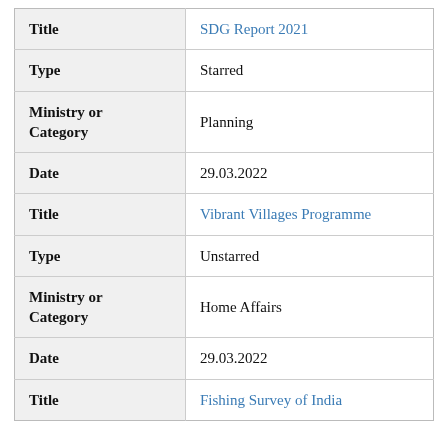| Field | Value |
| --- | --- |
| Title | SDG Report 2021 |
| Type | Starred |
| Ministry or Category | Planning |
| Date | 29.03.2022 |
| Title | Vibrant Villages Programme |
| Type | Unstarred |
| Ministry or Category | Home Affairs |
| Date | 29.03.2022 |
| Title | Fishing Survey of India |